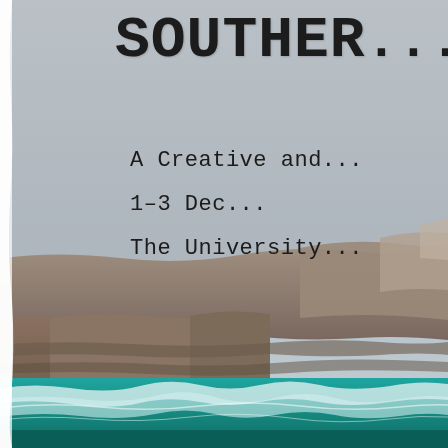[Figure (photo): Cover image of a conference proceedings booklet. Upper portion shows a crumpled/distressed paper texture with a grey-blue sky. Lower two-thirds shows dramatic coastal limestone cliff faces with turquoise ocean waves crashing at the base, extending into the distance.]
SOUTHER...
A Creative and...
1-3 Dec...
The University...